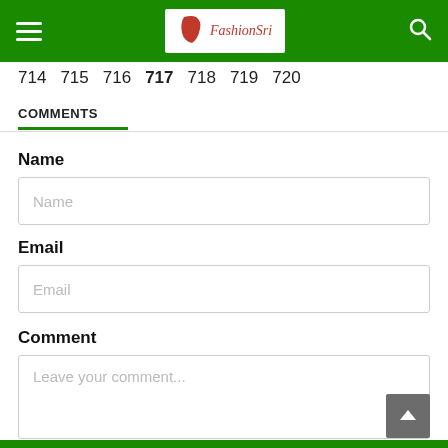FashionSri - navigation header with hamburger menu, logo, and search icon
714 715 716 717 718 719 720
COMMENTS
Name
Name (placeholder)
Email
Email (placeholder)
Comment
Leave your comment...